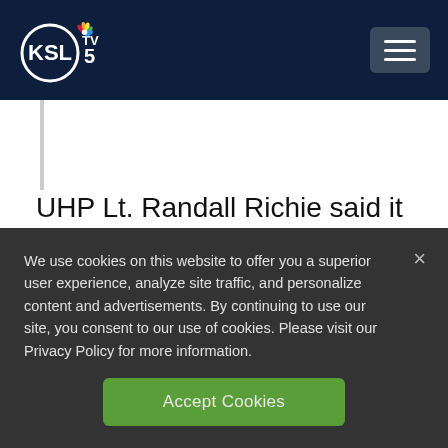KSL TV 5
UHP Lt. Randall Richie said it appears the pedestrian was doing everything correctly when she was hit. She is in “very serious” condition, officials report.
We use cookies on this website to offer you a superior user experience, analyze site traffic, and personalize content and advertisements. By continuing to use our site, you consent to our use of cookies. Please visit our Privacy Policy for more information.
Accept Cookies